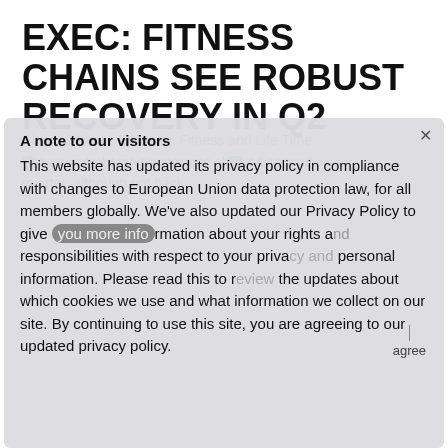EXEC: FITNESS CHAINS SEE ROBUST RECOVERY IN Q2
by benzinedhiaeddineoriginal  Leave a comment
Planet Fitness, Essential Fitness and Life Time Fitness membership programs showed second quarter, although not back...
A note to our visitors
This website has updated its privacy policy in compliance with changes to European Union data protection law, for all members globally. We've also updated our Privacy Policy to give you more information about your rights and responsibilities with respect to your privacy and personal information. Please read this to review the updates about which cookies we use and what information we collect on our site. By continuing to use this site, you are agreeing to our updated privacy policy.